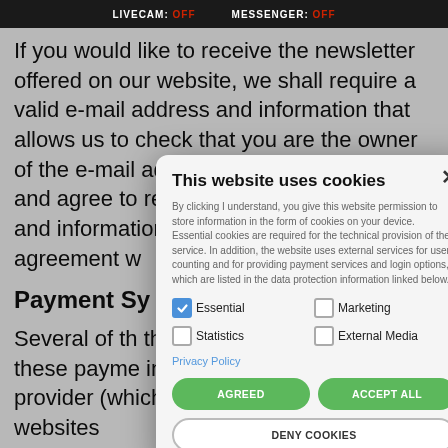LIVECAM: OFF   MESSENGER: OFF
If you would like to receive the newsletter offered on our website, we shall require a valid e-mail address and information that allows us to check that you are the owner of the e-mail address you have provided and agree to receiving the mail address and... agreement w...
Payment Sy...
Several of th... the input of p... processing o... these payme... information a... protection po... provider (which are available on their websites
This website uses cookies

By clicking I understand, you give this website permission to store information in the form of cookies on your device. Essential cookies are required for the technical provision of the service. In addition, the website uses external services for user counting and for providing payment services and login options, which are listed in the data protection information linked below.

Essential [checked] | Marketing [unchecked]
Statistics [unchecked] | External Media [unchecked]

Privacy Policy

AGREED | ACCEPT ALL

DENY COOKIES